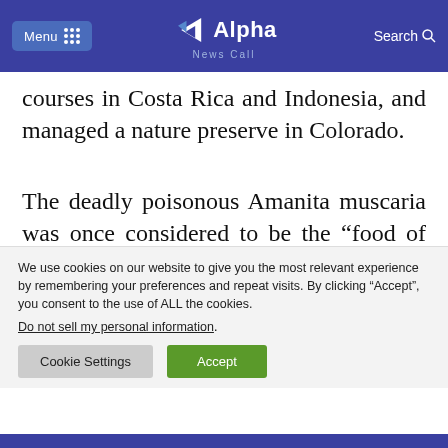Menu | Alpha News Call | Search
courses in Costa Rica and Indonesia, and managed a nature preserve in Colorado.
The deadly poisonous Amanita muscaria was once considered to be the “food of the gods.” It is edible, and some indigenous peoples in
We use cookies on our website to give you the most relevant experience by remembering your preferences and repeat visits. By clicking “Accept”, you consent to the use of ALL the cookies.
Do not sell my personal information.